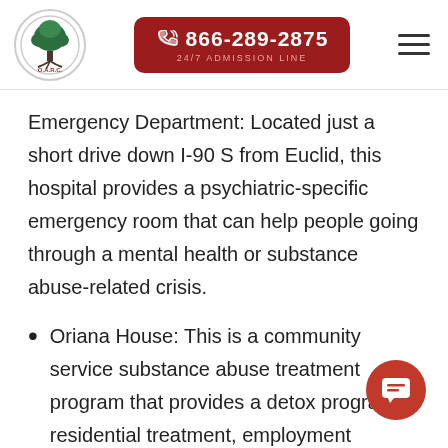O.A.R.C. logo | 866-289-2875 24/7 ADMISSION LINE
Emergency Department: Located just a short drive down I-90 S from Euclid, this hospital provides a psychiatric-specific emergency room that can help people going through a mental health or substance abuse-related crisis.
Oriana House: This is a community service substance abuse treatment program that provides a detox program, residential treatment, employment assistance, and offender re-entry programs for those who have been in jail or prison.